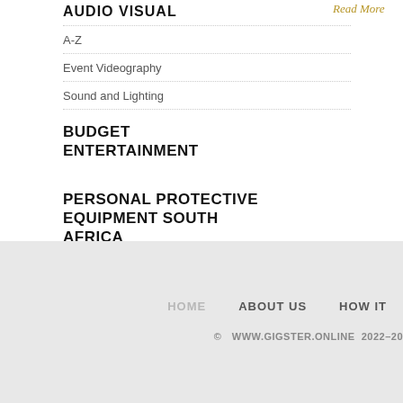AUDIO VISUAL
Read More
A-Z
Event Videography
Sound and Lighting
BUDGET ENTERTAINMENT
PERSONAL PROTECTIVE EQUIPMENT SOUTH AFRICA
HOME   ABOUT US   HOW IT...   © WWW.GIGSTER.ONLINE 2022–20...